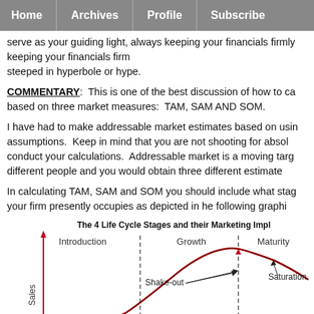Home | Archives | Profile | Subscribe
serve as your guiding light, always keeping your financials firmly grounded not steeped in hyperbole or hype.
COMMENTARY:  This is one of the best discussion of how to calculate your market based on three market measures:  TAM, SAM AND SOM.
I have had to make addressable market estimates based on using a variety of assumptions.  Keep in mind that you are not shooting for absolute accuracy when you conduct your calculations.  Addressable market is a moving target — ask three different people and you would obtain three different estimates.
In calculating TAM, SAM and SOM you should include what stage of development your firm presently occupies as depicted in he following graphic:
The 4 Life Cycle Stages and their Marketing Impl…
[Figure (continuous-plot): Product life cycle curve chart showing 4 stages: Introduction, Growth, Maturity (with Shake-out and Saturation points marked). Y-axis labeled Sales, curve is dark red/maroon rising through Introduction and Growth stages, peaking at Maturity. Dashed vertical lines separate stages. Take-off and Shake-out and Saturation labels with arrows on the curve.]